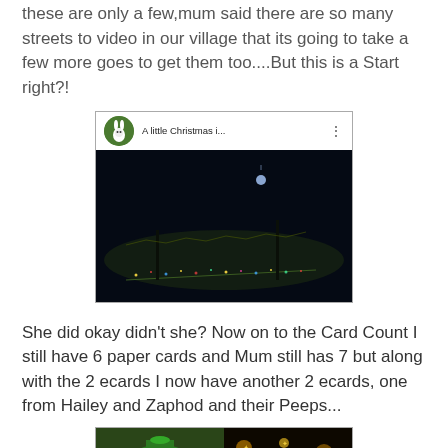these are only a few,mum said there are so many streets to video in our village that its going to take a few more goes to get them too....But this is a Start right?!
[Figure (screenshot): YouTube video thumbnail titled 'A little Christmas i...' showing a nighttime village scene with lights, featuring a white rabbit avatar and red YouTube play button]
She did okay didn't she? Now on to the Card Count I still have 6 paper cards and Mum still has 7 but along with the 2 ecards I now have another 2 ecards, one from Hailey and Zaphod and their Peeps...
[Figure (screenshot): Bottom portion of another embedded video showing a dog in a green hat on the left and glittering lights on the right]